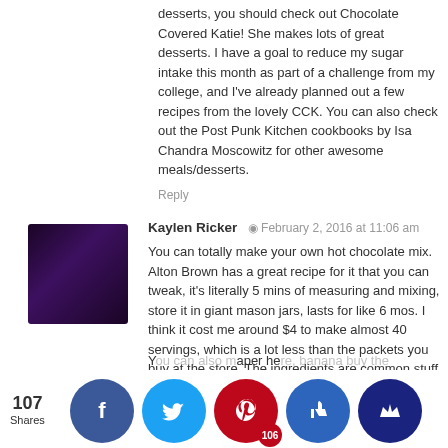desserts, you should check out Chocolate Covered Katie! She makes lots of great desserts. I have a goal to reduce my sugar intake this month as part of a challenge from my college, and I've already planned out a few recipes from the lovely CCK. You can also check out the Post Punk Kitchen cookbooks by Isa Chandra Moscowitz for other awesome meals/desserts.
Reply
Kaylen Ricker  ·  February 2, 2016 at 11:06 am
You can totally make your own hot chocolate mix. Alton Brown has a great recipe for it that you can tweak, it's literally 5 mins of measuring and mixing, store it in giant mason jars, lasts for like 6 mos. I think it cost me around $4 to make almost 40 servings, which is a lot less than the packets you buy at the store. The ingredients are common stuff like cinnamon, cocoa powder, stevia (or sugar), powdered milk.
http://www.foodnetwork.com/recipes/alton-brown/hot-cocoa-recipe.html
107 Shares